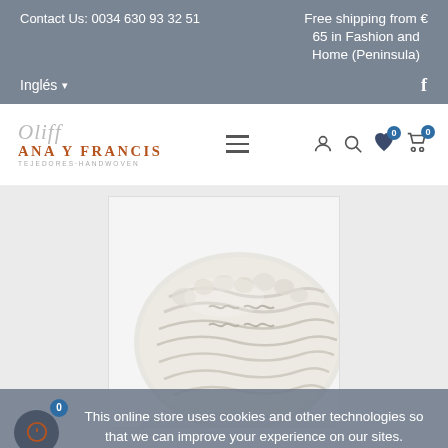Contact Us: 0034 630 93 32 51 | Free shipping from €65 in Fashion and Home (Peninsula) | Inglés | Facebook
[Figure (logo): Ana y Francis Tejedores-Handwoven logo with script font and orange brand name]
[Figure (photo): Close-up photo of a white/cream fluffy knitted wool product (hat or cushion) with textured cable-knit pattern]
This online store uses cookies and other technologies so that we can improve your experience on our sites.